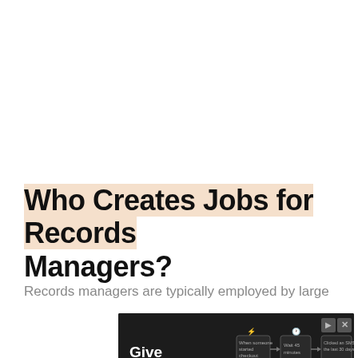Who Creates Jobs for Records Managers?
Records managers are typically employed by large
[Figure (screenshot): Advertisement banner with dark background showing a marketing automation workflow. Left side reads 'Give customers exactly what they want'. Right side shows a flowchart: 'When someone started checkout' → 'Wait 45 minutes' → 'Clicked an SMS in the last 30 days?' with Yes/No branches leading to 'Send text message' and 'Send email' buttons.]